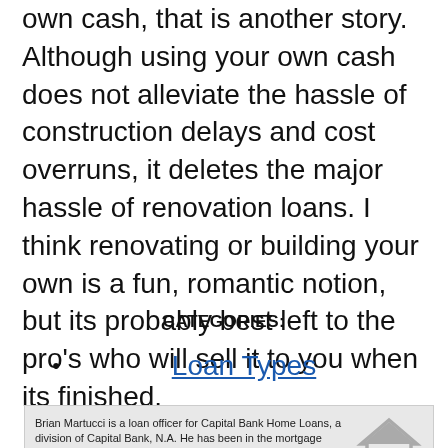own cash, that is another story. Although using your own cash does not alleviate the hassle of construction delays and cost overruns, it deletes the major hassle of renovation loans. I think renovating or building your own is a fun, romantic notion, but its probably best left to the pro's who will sell it to you when its finished.
CATEGORIES:
Loan Types
Brian Martucci is a loan officer for Capital Bank Home Loans, a division of Capital Bank, N.A. He has been in the mortgage industry since 1986 and has served in a number of roles, including loan processor, loan officer, mortgage broker, branch manager, and vice president.